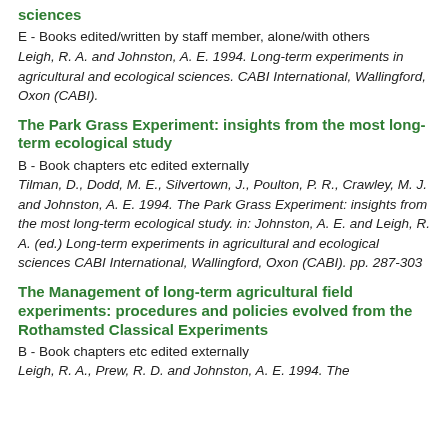sciences
E - Books edited/written by staff member, alone/with others
Leigh, R. A. and Johnston, A. E. 1994. Long-term experiments in agricultural and ecological sciences. CABI International, Wallingford, Oxon (CABI).
The Park Grass Experiment: insights from the most long-term ecological study
B - Book chapters etc edited externally
Tilman, D., Dodd, M. E., Silvertown, J., Poulton, P. R., Crawley, M. J. and Johnston, A. E. 1994. The Park Grass Experiment: insights from the most long-term ecological study. in: Johnston, A. E. and Leigh, R. A. (ed.) Long-term experiments in agricultural and ecological sciences CABI International, Wallingford, Oxon (CABI). pp. 287-303
The Management of long-term agricultural field experiments: procedures and policies evolved from the Rothamsted Classical Experiments
B - Book chapters etc edited externally
Leigh, R. A., Prew, R. D. and Johnston, A. E. 1994. The...